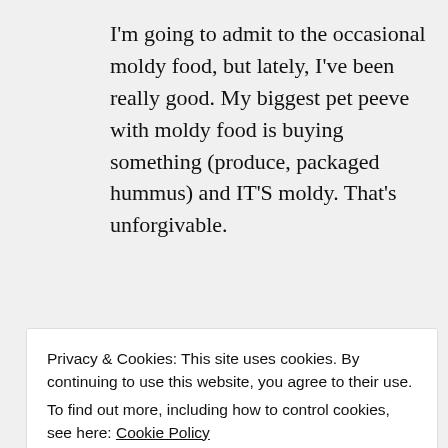I'm going to admit to the occasional moldy food, but lately, I've been really good. My biggest pet peeve with moldy food is buying something (produce, packaged hummus) and IT'S moldy. That's unforgivable.
↪ Reply
bakearama on September 5, 2012 at 5:19 am
Privacy & Cookies: This site uses cookies. By continuing to use this website, you agree to their use.
To find out more, including how to control cookies, see here: Cookie Policy
Close and accept